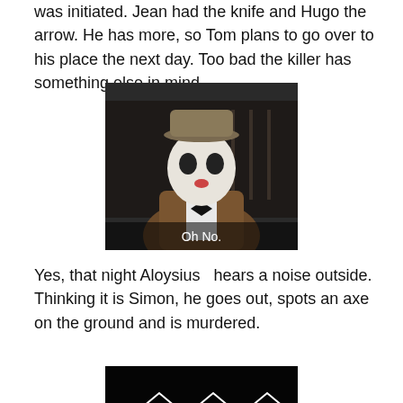was initiated. Jean had the knife and Hugo the arrow. He has more, so Tom plans to go over to his place the next day. Too bad the killer has something else in mind.
[Figure (photo): A person in mime/clown makeup wearing a bowler hat and tweed jacket with a bow tie, with subtitle text 'Oh No.']
Yes, that night Aloysius  hears a noise outside. Thinking it is Simon, he goes out, spots an axe on the ground and is murdered.
[Figure (photo): Dark image with white illustrated building/barn graphic at bottom of page]